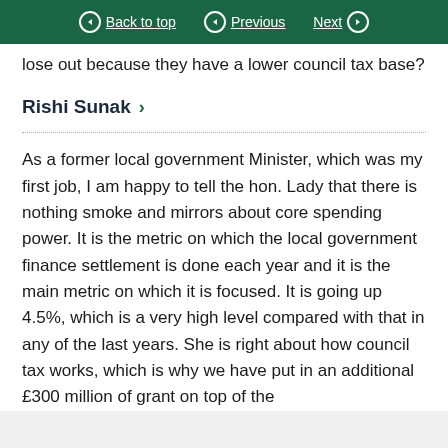Back to top | Previous | Next
lose out because they have a lower council tax base?
Rishi Sunak >
As a former local government Minister, which was my first job, I am happy to tell the hon. Lady that there is nothing smoke and mirrors about core spending power. It is the metric on which the local government finance settlement is done each year and it is the main metric on which it is focused. It is going up 4.5%, which is a very high level compared with that in any of the last years. She is right about how council tax works, which is why we have put in an additional £300 million of grant on top of the